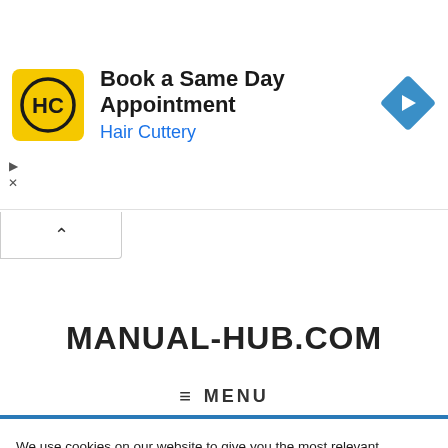[Figure (illustration): Hair Cuttery advertisement banner with yellow logo showing HC letters, headline 'Book a Same Day Appointment', subtext 'Hair Cuttery' in blue, and a blue diamond-shaped arrow icon on the right.]
MANUAL-HUB.COM
≡ MENU
We use cookies on our website to give you the most relevant experience by remembering your preferences and repeat visits. By clicking "Accept", you consent to the use of ALL the cookies.
Do not sell my personal information.